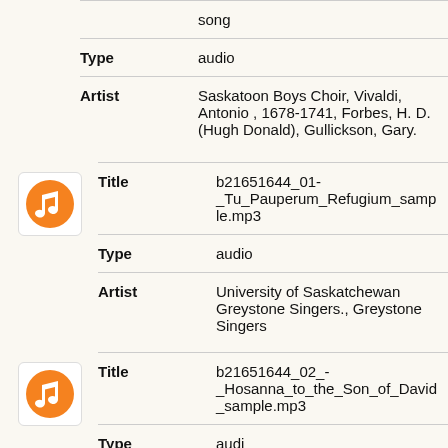song
Type: audio
Artist: Saskatoon Boys Choir, Vivaldi, Antonio , 1678-1741, Forbes, H. D. (Hugh Donald), Gullickson, Gary.
[Figure (illustration): Orange music note icon in a white rounded square border]
Title: b21651644_01-_Tu_Pauperum_Refugium_sample.mp3
Type: audio
Artist: University of Saskatchewan Greystone Singers., Greystone Singers
[Figure (illustration): Orange music note icon in a white rounded square border]
Title: b21651644_02_-_Hosanna_to_the_Son_of_David_sample.mp3
Type: audio